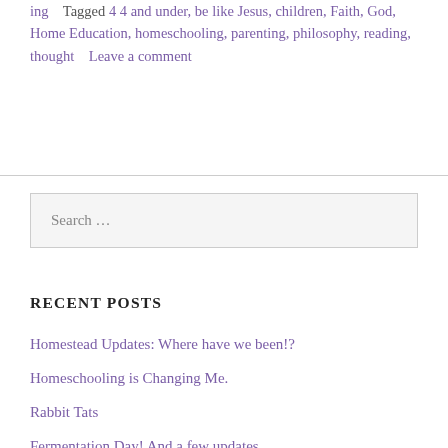ing   Tagged 4 4 and under, be like Jesus, children, Faith, God, Home Education, homeschooling, parenting, philosophy, reading, thought   Leave a comment
[Figure (other): Search input box with placeholder text 'Search ...']
RECENT POSTS
Homestead Updates: Where have we been!?
Homeschooling is Changing Me.
Rabbit Tats
Fermentation Day! And a few updates